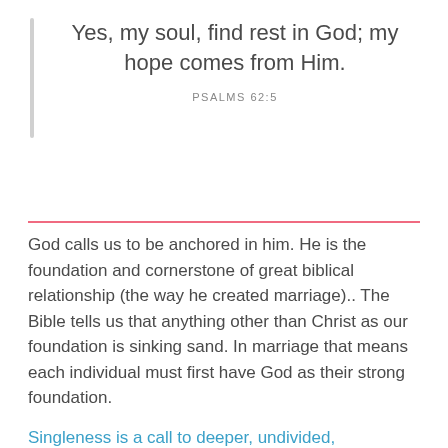Yes, my soul, find rest in God; my hope comes from Him.
PSALMS 62:5
God calls us to be anchored in him. He is the foundation and cornerstone of great biblical relationship (the way he created marriage).. The Bible tells us that anything other than Christ as our foundation is sinking sand. In marriage that means each individual must first have God as their strong foundation.
Singleness is a call to deeper, undivided,